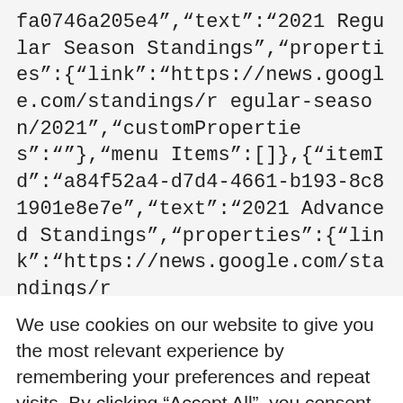fa0746a205e4”,“text”:“2021 Regular Season Standings”,“properties”:{"link":"https://news.google.com/standings/regular-season/2021","customProperties":""},"menuItems":[]},{"itemId":"a84f52a4-d7d4-4661-b193-8c81901e8e7e","text":"2021 Advanced Standings","properties":{"link":"https://news.google.com/standings/r
We use cookies on our website to give you the most relevant experience by remembering your preferences and repeat visits. By clicking “Accept All”, you consent to the use of ALL the cookies. However, you may visit "Cookie Settings" to provide a controlled consent.